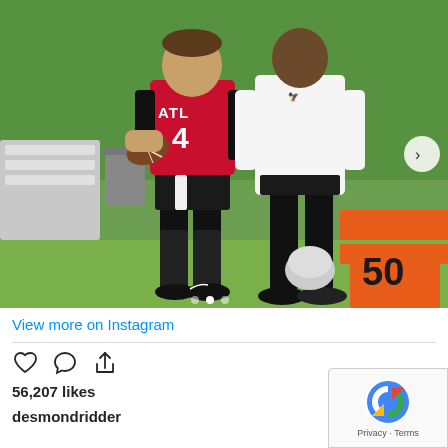[Figure (photo): Instagram post photo showing an Atlanta Falcons quarterback wearing a red ATL #4 jersey holding a football at practice, standing next to a coach or player in a white long-sleeve shirt and black pants. Training equipment visible in background including orange cones and a '50' marker. Two carousel dots visible at the bottom of the image.]
View more on Instagram
[Figure (other): Instagram post action icons: heart (like), speech bubble (comment), and share/upload arrow icons]
56,207 likes
desmondridder